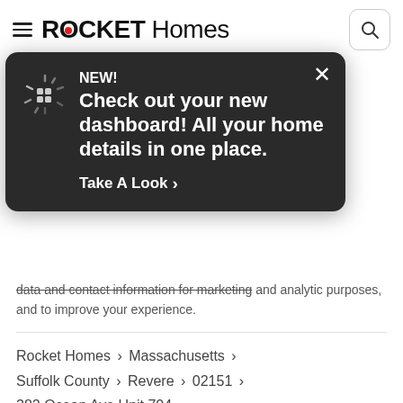ROCKET Homes
[Figure (screenshot): Dark popup tooltip with icon, close button, 'NEW!' label, text 'Check out your new dashboard! All your home details in one place.', and 'Take A Look >' CTA link]
...es Rocket Homes Real Estate LLC or any of its ...es. By communicating with us by phone, you consent to calls being recorded or monitored. You also agree that we can share your email address and contact information with third parties such as mortgage partners, partner companies, and affiliates. These parties may use your personal data and contact information for marketing and analytic purposes, and to improve your experience.
Rocket Homes › Massachusetts › Suffolk County › Revere › 02151 › 382 Ocean Ave Unit 704
More Homes For Sale in Revere